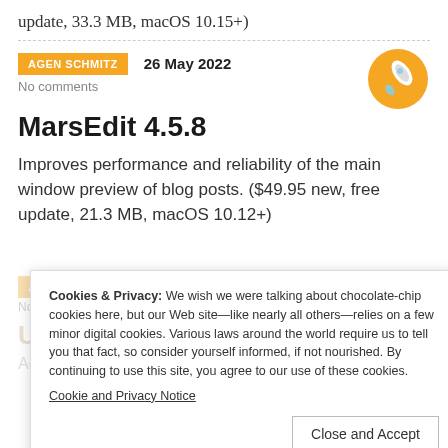update, 33.3 MB, macOS 10.15+)
AGEN SCHMITZ   26 May 2022
No comments
MarsEdit 4.5.8
Improves performance and reliability of the main window preview of blog posts. ($49.95 new, free update, 21.3 MB, macOS 10.12+)
Cookies & Privacy: We wish we were talking about chocolate-chip cookies here, but our Web site—like nearly all others—relies on a few minor digital cookies. Various laws around the world require us to tell you that fact, so consider yourself informed, if not nourished. By continuing to use this site, you agree to our use of these cookies.
Cookie and Privacy Notice
Close and Accept
Ulysses 26
Adds a few new features to the macOS edition